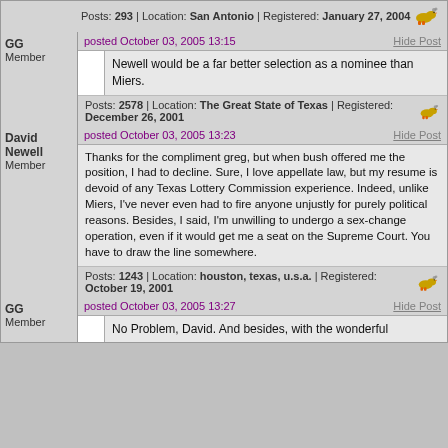Posts: 293 | Location: San Antonio | Registered: January 27, 2004
GG Member
posted October 03, 2005 13:15
Hide Post
Newell would be a far better selection as a nominee than Miers.
Posts: 2578 | Location: The Great State of Texas | Registered: December 26, 2001
David Newell Member
posted October 03, 2005 13:23
Hide Post
Thanks for the compliment greg, but when bush offered me the position, I had to decline. Sure, I love appellate law, but my resume is devoid of any Texas Lottery Commission experience. Indeed, unlike Miers, I've never even had to fire anyone unjustly for purely political reasons. Besides, I said, I'm unwilling to undergo a sex-change operation, even if it would get me a seat on the Supreme Court. You have to draw the line somewhere.
Posts: 1243 | Location: houston, texas, u.s.a. | Registered: October 19, 2001
GG Member
posted October 03, 2005 13:27
Hide Post
No Problem, David. And besides, with the wonderful